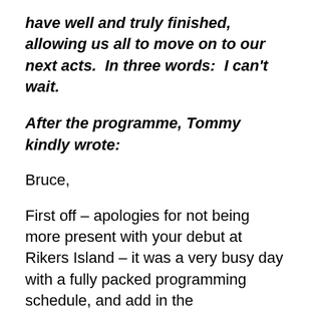have well and truly finished, allowing us all to move on to our next acts.  In three words:  I can't wait.
After the programme, Tommy kindly wrote:
Bruce,
First off – apologies for not being more present with your debut at Rikers Island – it was a very busy day with a fully packed programming schedule, and add in the Commissioner and some media issues and alarms, and there you have it, a regular day in my world– so, many